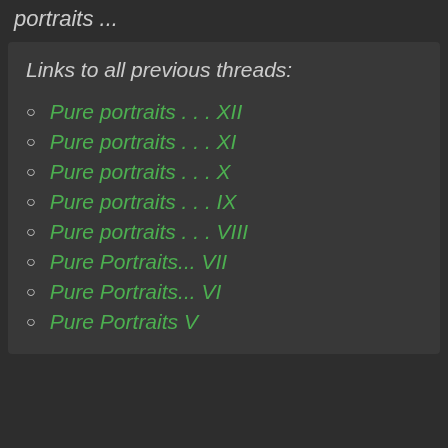portraits ...
Links to all previous threads:
Pure portraits . . . XII
Pure portraits . . . XI
Pure portraits . . . X
Pure portraits . . . IX
Pure portraits . . . VIII
Pure Portraits... VII
Pure Portraits... VI
Pure Portraits V